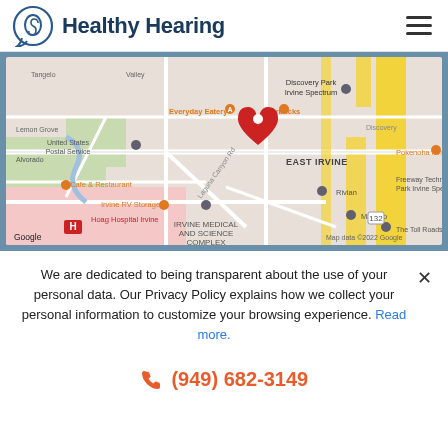Healthy Hearing
[Figure (map): Google Map showing East Irvine area with a red location pin marker near Starbucks. Visible landmarks include Discovery Park Irvine Spectrum, United States Postal Service, Everyday Eatery, Starbucks, Rivian, Freeway Technology Park Irvine Spectrum, Pokenoha Irvine, Masimo, The Toll Roads, Hoag Hospital Irvine, Irvine Medical and Science Complex, Irvine RV Storage, W Cafe & Restaurant, Laguna Canyon Rd. Map data ©2022 Google.]
We are dedicated to being transparent about the use of your personal data. Our Privacy Policy explains how we collect your personal information to customize your browsing experience. Read more.
(949) 682-3149